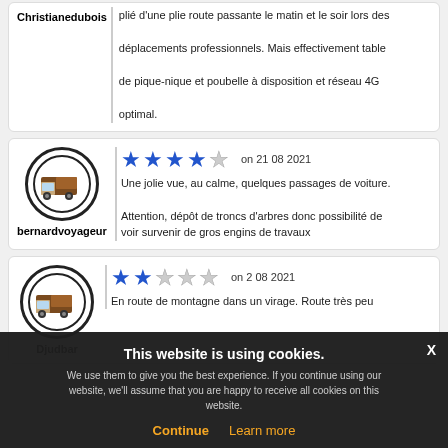Christianedubois – (partial top review cut off) ...plié d'une plie route passante le matin et le soir lors des déplacements professionnels. Mais effectivement table de pique-nique et poubelle à disposition et réseau 4G optimal.
bernardvoyageur – 4 stars – on 21 08 2021 – Une jolie vue, au calme, quelques passages de voiture. Attention, dépôt de troncs d'arbres donc possibilité de voir survenir de gros engins de travaux
Djudbar – 2 stars – on 2 08 2021 – En route de montagne dans un virage. Route très peu...
This website is using cookies. We use them to give you the best experience. If you continue using our website, we'll assume that you are happy to receive all cookies on this website.